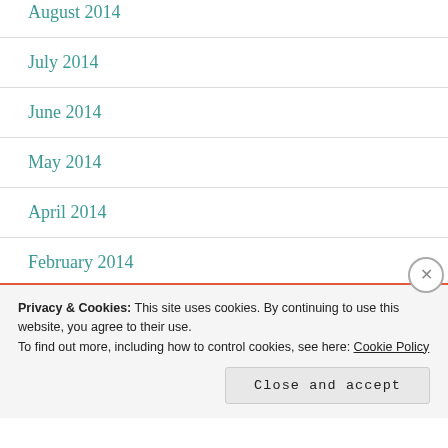August 2014
July 2014
June 2014
May 2014
April 2014
February 2014
January 2014
December 2013
Privacy & Cookies: This site uses cookies. By continuing to use this website, you agree to their use.
To find out more, including how to control cookies, see here: Cookie Policy
Close and accept